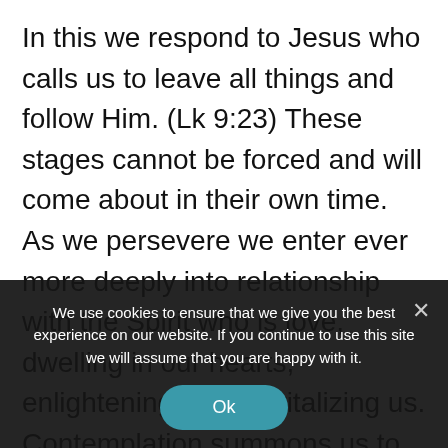In this we respond to Jesus who calls us to leave all things and follow Him. (Lk 9:23) These stages cannot be forced and will come about in their own time. As we persevere we enter ever more deeply into relationship with the Spirit who is love, dwelling in our hearts, enlightening us and vitalizing us. Contemplation summons us to open our hearts to this Spirit, paying attention this
We use cookies to ensure that we give you the best experience on our website. If you continue to use this site we will assume that you are happy with it.